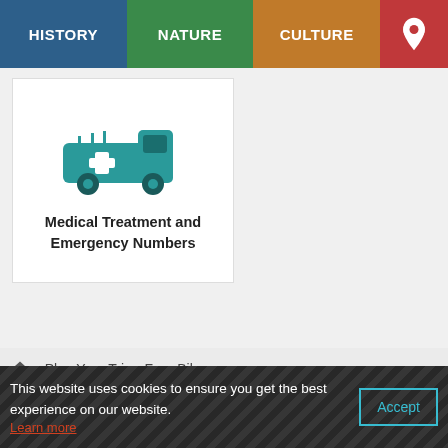HISTORY | NATURE | CULTURE
[Figure (screenshot): Card with teal ambulance/medical vehicle icon and bold text reading 'Medical Treatment and Emergency Numbers']
Plan Your Trip > Free Bikes
This website uses cookies to ensure you get the best experience on our website. Learn more
Accept